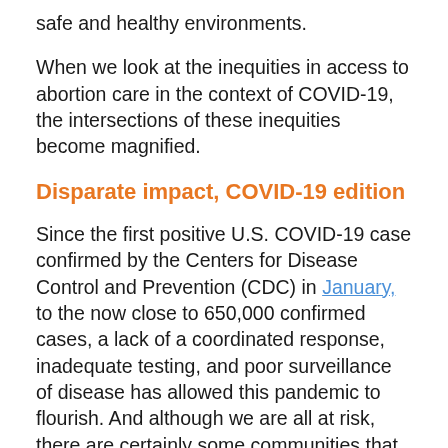safe and healthy environments.
When we look at the inequities in access to abortion care in the context of COVID-19, the intersections of these inequities become magnified.
Disparate impact, COVID-19 edition
Since the first positive U.S. COVID-19 case confirmed by the Centers for Disease Control and Prevention (CDC) in January, to the now close to 650,000 confirmed cases, a lack of a coordinated response, inadequate testing, and poor surveillance of disease has allowed this pandemic to flourish. And although we are all at risk, there are certainly some communities that are experiencing a disparate exacerbation of risk, exposure,